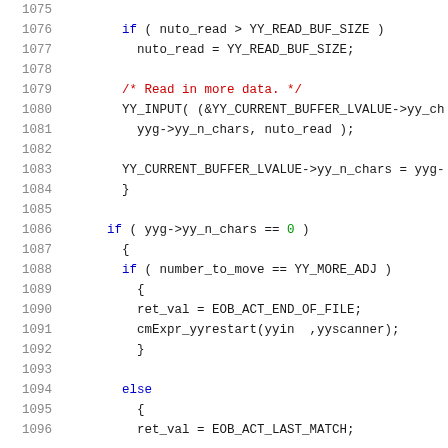[Figure (screenshot): Source code listing showing lines 1075-1096 of a C/C++ lexer file with syntax highlighting. Line numbers in gray, keywords in blue, comments in red, numeric literals in green.]